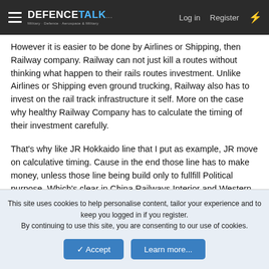DEFENCETALK — Log in  Register
However it is easier to be done by Airlines or Shipping, then Railway company. Railway can not just kill a routes without thinking what happen to their rails routes investment. Unlike Airlines or Shipping even ground trucking, Railway also has to invest on the rail track infrastructure it self. More on the case why healthy Railway Company has to calculate the timing of their investment carefully.
That's why like JR Hokkaido line that I put as example, JR move on calculative timing. Cause in the end those line has to make money, unless those line being build only to fullfill Political purpose. Which's clear in China Railways Interior and Western corridor routes.
Question is on any 'Political Business Decision' how long you
This site uses cookies to help personalise content, tailor your experience and to keep you logged in if you register.
By continuing to use this site, you are consenting to our use of cookies.